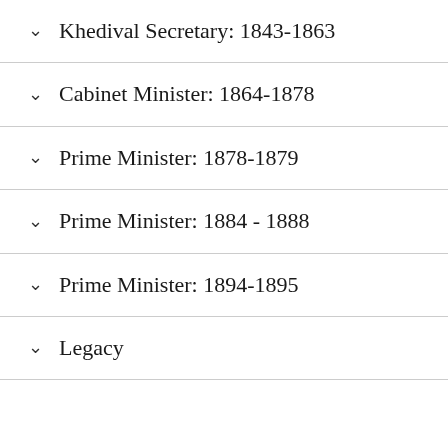Khedival Secretary: 1843-1863
Cabinet Minister: 1864-1878
Prime Minister: 1878-1879
Prime Minister: 1884 - 1888
Prime Minister: 1894-1895
Legacy